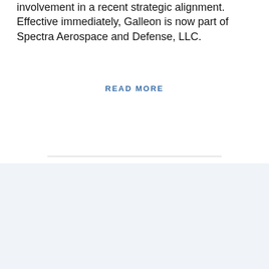involvement in a recent strategic alignment. Effective immediately, Galleon is now part of Spectra Aerospace and Defense, LLC.
READ MORE
We use cookies on our website to give you the most relevant experience by remembering your preferences and repeat visits. By clicking “Accept”, you consent to the use of ALL the cookies.
Cookie settings
ACCEPT